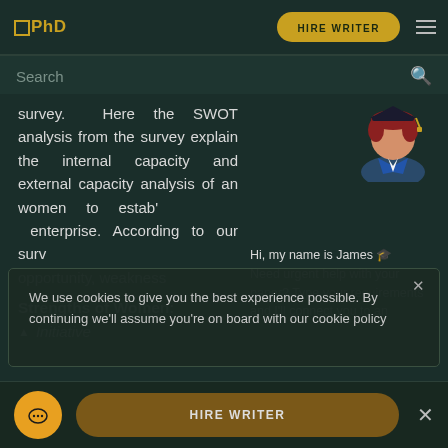PhD | HIRE WRITER
Search
survey. Here the SWOT analysis from the survey explain the internal capacity and external capacity analysis of an women to estab' enterprise. According to our surv opportunity, weakness
[Figure (illustration): Avatar of a student/writer with graduation cap]
Strengths of Women:
Initiative
Hi, my name is James 🎓 Need urgent help with your paper? Type your requirements and I'll connect you to an
We use cookies to give you the best experience possible. By continuing we'll assume you're on board with our cookie policy
HIRE WRITER